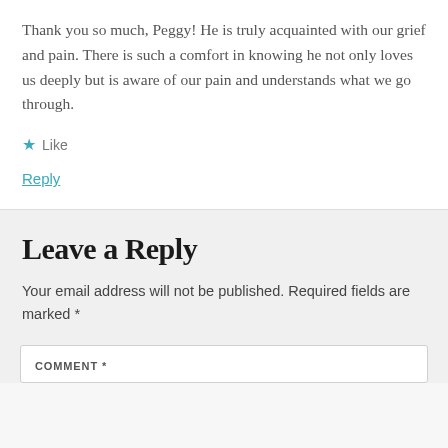Thank you so much, Peggy! He is truly acquainted with our grief and pain. There is such a comfort in knowing he not only loves us deeply but is aware of our pain and understands what we go through.
★ Like
Reply
Leave a Reply
Your email address will not be published. Required fields are marked *
COMMENT *